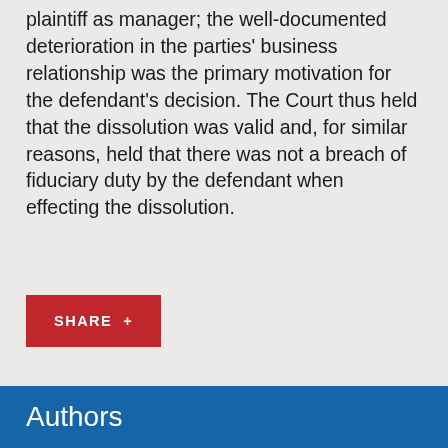plaintiff as manager; the well-documented deterioration in the parties' business relationship was the primary motivation for the defendant's decision. The Court thus held that the dissolution was valid and, for similar reasons, held that there was not a breach of fiduciary duty by the defendant when effecting the dissolution.
[Figure (other): Red 'SHARE +' button]
Authors